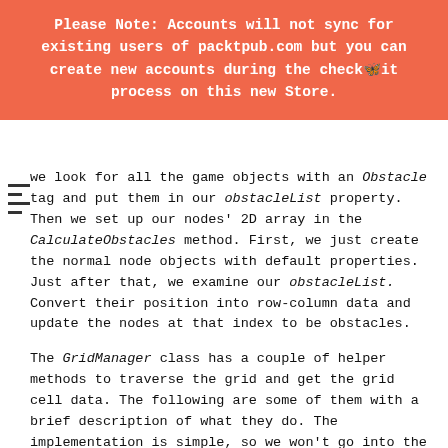Please Note: Accounts will not sync for existing users of packtpub.com but you can create new accounts during the checkout process on this new Store.
we look for all the game objects with an Obstacle tag and put them in our obstacleList property. Then we set up our nodes' 2D array in the CalculateObstacles method. First, we just create the normal node objects with default properties. Just after that, we examine our obstacleList. Convert their position into row-column data and update the nodes at that index to be obstacles.
The GridManager class has a couple of helper methods to traverse the grid and get the grid cell data. The following are some of them with a brief description of what they do. The implementation is simple, so we won't go into the details.
The GetGridCellCenter method returns the position of the grid cell in world coordinates from the cell index, as shown in the following code: